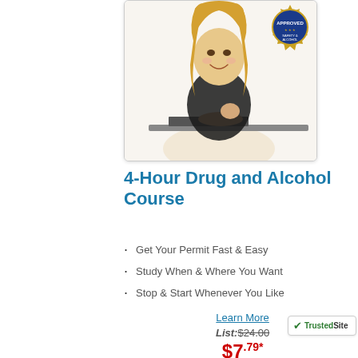[Figure (photo): Young blonde woman smiling at desk with laptop, with an 'Approved' seal badge in top right corner of the image]
4-Hour Drug and Alcohol Course
Get Your Permit Fast & Easy
Study When & Where You Want
Stop & Start Whenever You Like
Learn More
List: $24.00
$7.79*
[Figure (logo): TrustedSite badge with green checkmark]